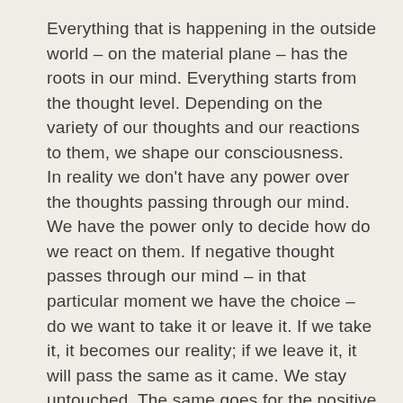Everything that is happening in the outside world – on the material plane – has the roots in our mind. Everything starts from the thought level. Depending on the variety of our thoughts and our reactions to them, we shape our consciousness.
In reality we don't have any power over the thoughts passing through our mind. We have the power only to decide how do we react on them. If negative thought passes through our mind – in that particular moment we have the choice – do we want to take it or leave it. If we take it, it becomes our reality; if we leave it, it will pass the same as it came. We stay untouched. The same goes for the positive thoughts.
Looking long-term, our consciousness is just the